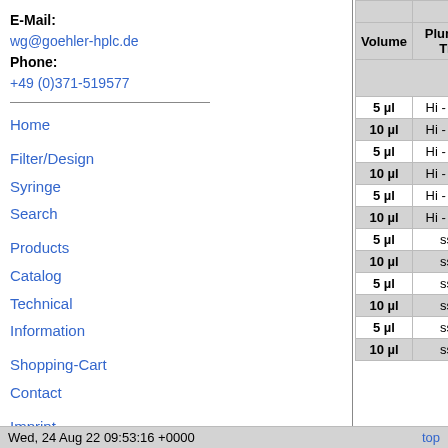E-Mail: wg@goehler-hplc.de Phone: +49 (0)371-519577
Home
Filter/Design Syringe
Search
Products
Catalog
Technical Information
Shopping-Cart
Contact
Imprint
Product Index
|  | Length | Volume | Plunger Tip | O.D. (Gauge |
| --- | --- | --- | --- | --- |
| 5 µl | Hi - Res | 0.47 (26 |
| 10 µl | Hi - Res | 0.47 (26 |
| 5 µl | Hi - Res | 0.47/0.64 |
| 10 µl | Hi - Res | 0.47/0.64 |
| 5 µl | Hi - Res | 0.64 (23 |
| 10 µl | Hi - Res | 0.64 (23 |
| 5 µl | ss* | 0.47 (26 |
| 10 µl | ss* | 0.47 (26 |
| 5 µl | ss* | 0.47/0.64 |
| 10 µl | ss* | 0.47/0.64 |
| 5 µl | ss* | 0.64 (23 |
| 10 µl | ss* | 0.64 (23 |
Wed, 24 Aug 22 09:53:16 +0000   top